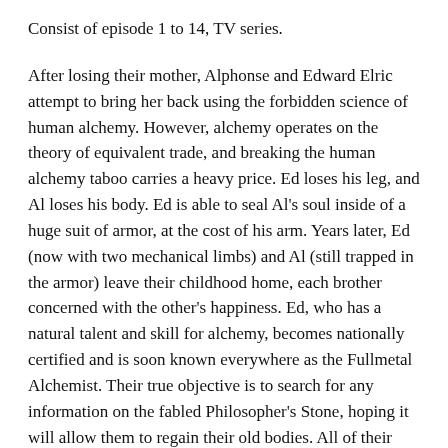Consist of episode 1 to 14, TV series.
After losing their mother, Alphonse and Edward Elric attempt to bring her back using the forbidden science of human alchemy. However, alchemy operates on the theory of equivalent trade, and breaking the human alchemy taboo carries a heavy price. Ed loses his leg, and Al loses his body. Ed is able to seal Al’s soul inside of a huge suit of armor, at the cost of his arm. Years later, Ed (now with two mechanical limbs) and Al (still trapped in the armor) leave their childhood home, each brother concerned with the other’s happiness. Ed, who has a natural talent and skill for alchemy, becomes nationally certified and is soon known everywhere as the Fullmetal Alchemist. Their true objective is to search for any information on the fabled Philosopher’s Stone, hoping it will allow them to regain their old bodies. All of their hopes rest with this mythical stone, which may not even exist at all. However, the brothers soon learn that they are not the only ones after the powerful stone.